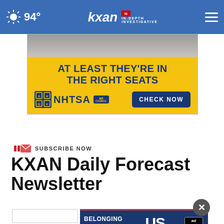94° KXAN IN-DEPTH INVESTIGATIVE
[Figure (screenshot): NHTSA ad banner: yellow background with text 'AT LEAST THEY'RE IN THE RIGHT SEATS', NHTSA logo, Ad Council badge, and CHECK NOW button]
SUBSCRIBE NOW
KXAN Daily Forecast Newsletter
[Figure (screenshot): Ad Council ad: 'BELONGING BEGINS WITH US' on dark blue background with red underline stripe]